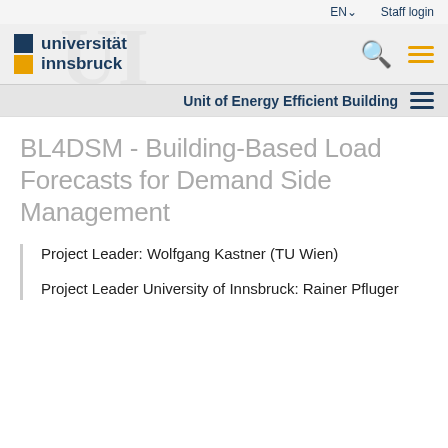EN  Staff login
[Figure (logo): Universität Innsbruck logo with blue and orange squares and university name text]
Unit of Energy Efficient Building
BL4DSM - Building-Based Load Forecasts for Demand Side Management
Project Leader: Wolfgang Kastner (TU Wien)
Project Leader University of Innsbruck: Rainer Pfluger